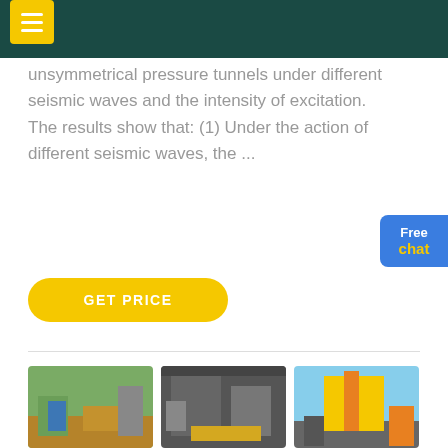unsymmetrical pressure tunnels under different seismic waves and the intensity of excitation. The results show that: (1) Under the action of different seismic waves, the ...
GET PRICE
[Figure (photo): Three industrial mining/crushing equipment site photos side by side]
A Spectacular Performance From